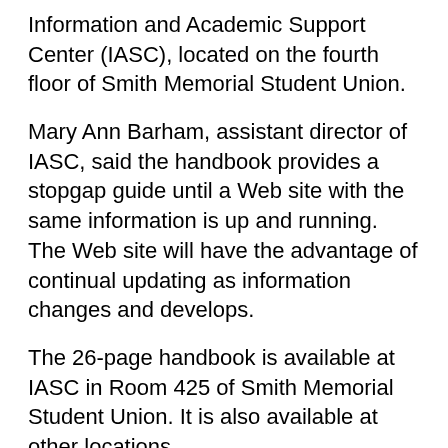Information and Academic Support Center (IASC), located on the fourth floor of Smith Memorial Student Union.
Mary Ann Barham, assistant director of IASC, said the handbook provides a stopgap guide until a Web site with the same information is up and running. The Web site will have the advantage of continual updating as information changes and develops.
The 26-page handbook is available at IASC in Room 425 of Smith Memorial Student Union. It is also available at other locations.
It attempts to answer the question, “What do I do after being admitted to Portland State University?”